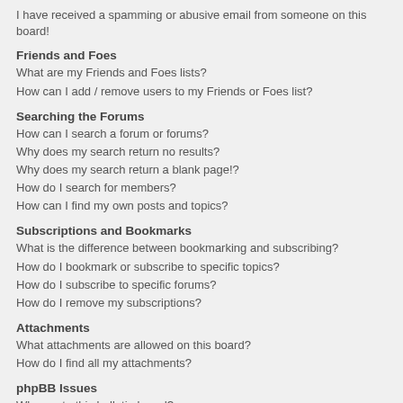I have received a spamming or abusive email from someone on this board!
Friends and Foes
What are my Friends and Foes lists?
How can I add / remove users to my Friends or Foes list?
Searching the Forums
How can I search a forum or forums?
Why does my search return no results?
Why does my search return a blank page!?
How do I search for members?
How can I find my own posts and topics?
Subscriptions and Bookmarks
What is the difference between bookmarking and subscribing?
How do I bookmark or subscribe to specific topics?
How do I subscribe to specific forums?
How do I remove my subscriptions?
Attachments
What attachments are allowed on this board?
How do I find all my attachments?
phpBB Issues
Who wrote this bulletin board?
Why isn't X feature available?
Who do I contact about abusive and/or legal matters related to this board?